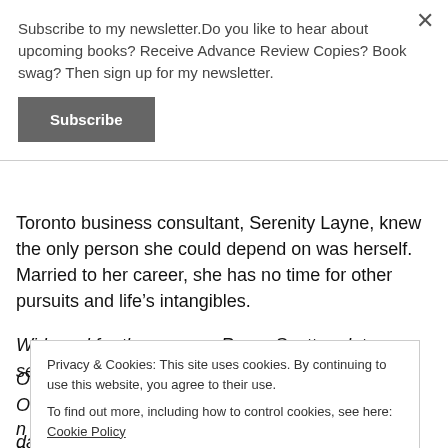Subscribe to my newsletter.Do you like to hear about upcoming books? Receive Advance Review Copies? Book swag? Then sign up for my newsletter.
Subscribe
Toronto business consultant, Serenity Layne, knew the only person she could depend on was herself. Married to her career, she has no time for other pursuits and life's intangibles.
Widowed for three years, Roger Scott, a data security specialist in
Privacy & Cookies: This site uses cookies. By continuing to use this website, you agree to their use. To find out more, including how to control cookies, see here: Cookie Policy
Close and accept
dating sites.